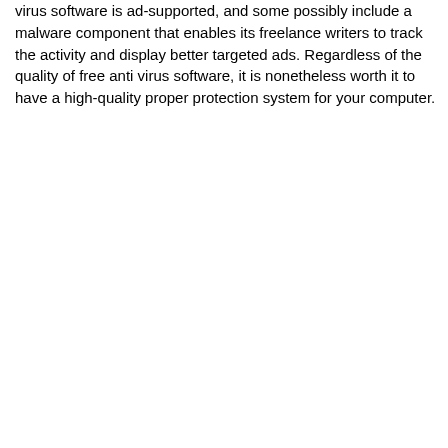virus software is ad-supported, and some possibly include a malware component that enables its freelance writers to track the activity and display better targeted ads. Regardless of the quality of free anti virus software, it is nonetheless worth it to have a high-quality proper protection system for your computer.